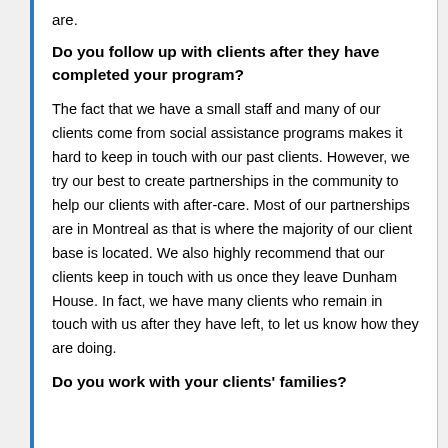are.
Do you follow up with clients after they have completed your program?
The fact that we have a small staff and many of our clients come from social assistance programs makes it hard to keep in touch with our past clients. However, we try our best to create partnerships in the community to help our clients with after-care. Most of our partnerships are in Montreal as that is where the majority of our client base is located. We also highly recommend that our clients keep in touch with us once they leave Dunham House. In fact, we have many clients who remain in touch with us after they have left, to let us know how they are doing.
Do you work with your clients' families?